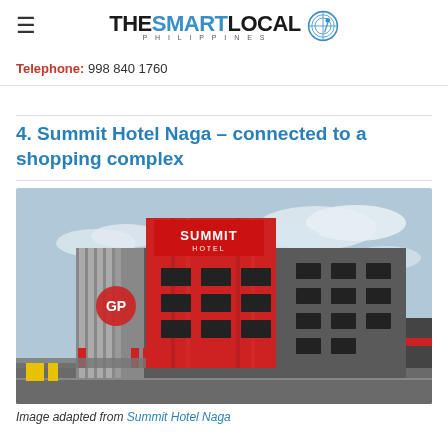THE SMART LOCAL PHILIPPINES
Telephone: 998 840 1760
4. Summit Hotel Naga – connected to a shopping complex
[Figure (photo): Exterior photo of Summit Hotel Naga, a modern multi-story building with red and dark grey facade, featuring the SUMMIT HOTEL sign on top and a GP logo on the side.]
Image adapted from Summit Hotel Naga